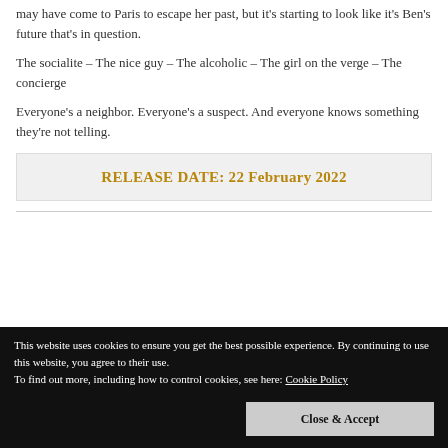may have come to Paris to escape her past, but it's starting to look like it's Ben's future that's in question.
The socialite – The nice guy – The alcoholic – The girl on the verge – The concierge
Everyone's a neighbor. Everyone's a suspect. And everyone knows something they're not telling.
RELEASE DATE: 22 February 2022
This website uses cookies to ensure you get the best possible experience. By continuing to use this website, you agree to their use.
To find out more, including how to control cookies, see here: Cookie Policy
Close & Accept